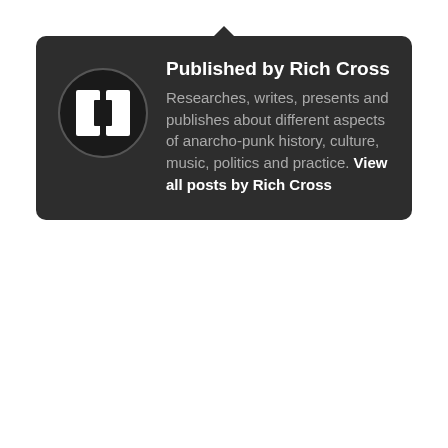Published by Rich Cross. Researches, writes, presents and publishes about different aspects of anarcho-punk history, culture, music, politics and practice. View all posts by Rich Cross
← PREVIOUS
Steve Ignorant Band – Crass songs live in Nottingham 2021
NEXT →
New Hunt Sabs benefit compilation release